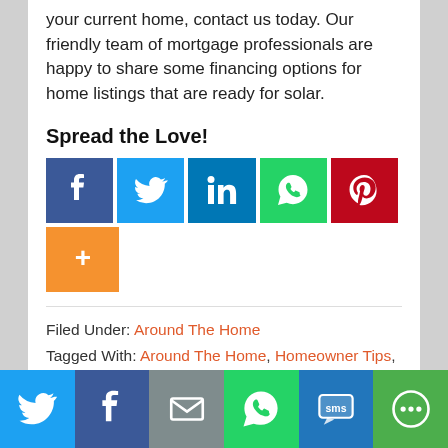your current home, contact us today. Our friendly team of mortgage professionals are happy to share some financing options for home listings that are ready for solar.
Spread the Love!
[Figure (infographic): Social share buttons: Facebook (dark blue), Twitter (light blue), LinkedIn (blue), WhatsApp (green), Pinterest (red), More/Plus (orange)]
Filed Under: Around The Home
Tagged With: Around The Home, Homeowner Tips, Upgrades and Renovations
[Figure (infographic): Bottom sticky social share bar with Twitter (blue), Facebook (dark blue), Email (grey), WhatsApp (green), SMS (blue), More (green) icons]